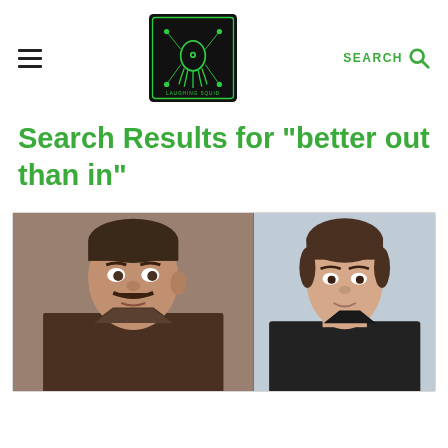Laughing Squid
Search Results for "better out than in"
[Figure (photo): Two side-by-side photos: left shows a man with a military-style haircut and mustache in a brown uniform; right shows a man in a black shirt against a light background.]